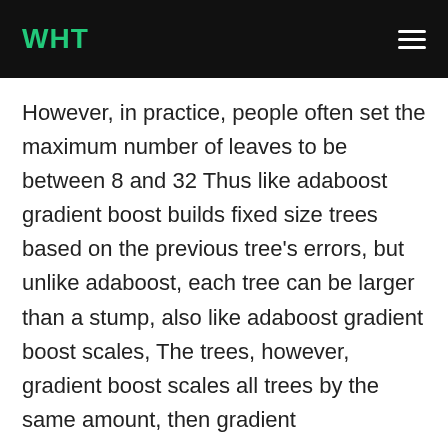WHT
However, in practice, people often set the maximum number of leaves to be between 8 and 32 Thus like adaboost gradient boost builds fixed size trees based on the previous tree’s errors, but unlike adaboost, each tree can be larger than a stump, also like adaboost gradient boost scales, The trees, however, gradient boost scales all trees by the same amount, then gradient